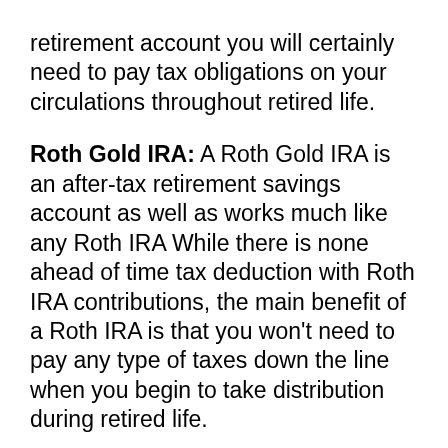retirement account you will certainly need to pay tax obligations on your circulations throughout retired life. Roth Gold IRA: A Roth Gold IRA is an after-tax retirement savings account as well as works much like any Roth IRA While there is none ahead of time tax deduction with Roth IRA contributions, the main benefit of a Roth IRA is that you won't need to pay any type of taxes down the line when you begin to take distribution during retired life. SEP Gold Individual Retirement Account: SEP gold IRAs are readily available to local business owner and independent people. The SEP Gold individual retirement account works in a similar way to a pre-tax traditional IRA, because your payments are not strained, but it supplies higher payment